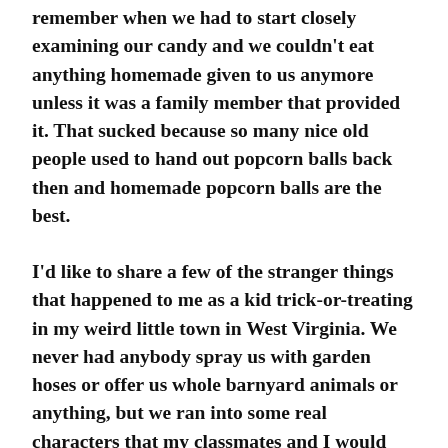remember when we had to start closely examining our candy and we couldn't eat anything homemade given to us anymore unless it was a family member that provided it. That sucked because so many nice old people used to hand out popcorn balls back then and homemade popcorn balls are the best.
I'd like to share a few of the stranger things that happened to me as a kid trick-or-treating in my weird little town in West Virginia. We never had anybody spray us with garden hoses or offer us whole barnyard animals or anything, but we ran into some real characters that my classmates and I would talk about in school the next day.
One year, my mom took us to a different county for trick-or-treating. It was the neighborhood close to